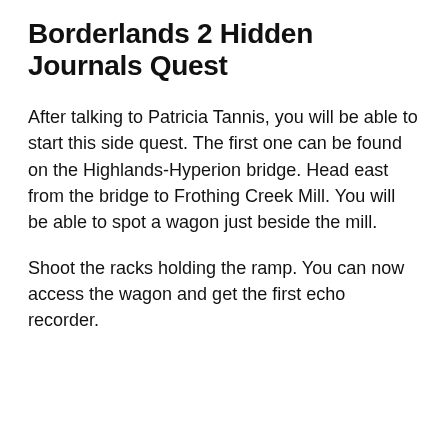Borderlands 2 Hidden Journals Quest
After talking to Patricia Tannis, you will be able to start this side quest. The first one can be found on the Highlands-Hyperion bridge. Head east from the bridge to Frothing Creek Mill. You will be able to spot a wagon just beside the mill.
Shoot the racks holding the ramp. You can now access the wagon and get the first echo recorder.